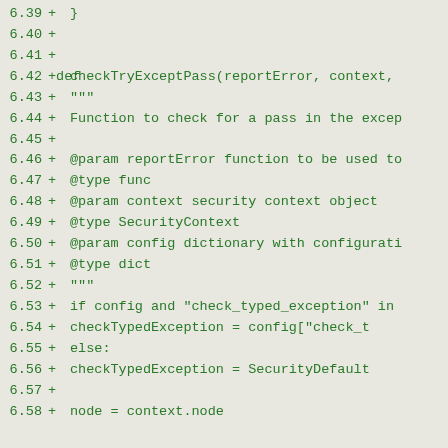6.39 +     }
6.40 +
6.41 +
6.42 +def checkTryExceptPass(reportError, context,
6.43 +     """
6.44 +     Function to check for a pass in the excep
6.45 +
6.46 +     @param reportError function to be used to
6.47 +     @type func
6.48 +     @param context security context object
6.49 +     @type SecurityContext
6.50 +     @param config dictionary with configurati
6.51 +     @type dict
6.52 +     """
6.53 +     if config and "check_typed_exception" in
6.54 +         checkTypedException = config["check_t
6.55 +     else:
6.56 +         checkTypedException = SecurityDefault
6.57 +
6.58 +     node = context.node